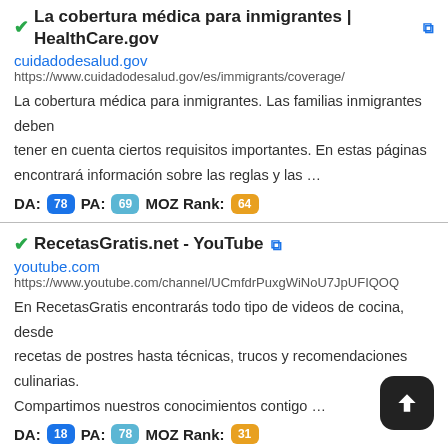La cobertura médica para inmigrantes | HealthCare.gov
cuidadodesalud.gov
https://www.cuidadodesalud.gov/es/immigrants/coverage/
La cobertura médica para inmigrantes. Las familias inmigrantes deben tener en cuenta ciertos requisitos importantes. En estas páginas encontrará información sobre las reglas y las …
DA: 78  PA: 69  MOZ Rank: 64
RecetasGratis.net - YouTube
youtube.com
https://www.youtube.com/channel/UCmfdrPuxgWiNoU7JpUFIQOQ
En RecetasGratis encontrarás todo tipo de videos de cocina, desde recetas de postres hasta técnicas, trucos y recomendaciones culinarias. Compartimos nuestros conocimientos contigo …
DA: 18  PA: 78  MOZ Rank: 31
RecetasGratis.site | Recetas Fáciles Paso A Paso
recetasgratis.site